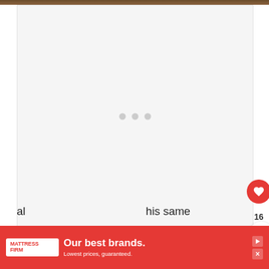[Figure (photo): Thin brown/wooden top bar image at the very top of the page]
[Figure (screenshot): Large white video player area with three grey loading dots in the center, like-button (red heart), share button, and What's Next overlay showing 'How To Hijack or Hack A...' thumbnail]
This shutdown state prevents serious damage to the al... his same is... xample.
[Figure (other): Mattress Firm advertisement banner: 'Our best brands. Lowest prices, guaranteed.' on red background with ad controls]